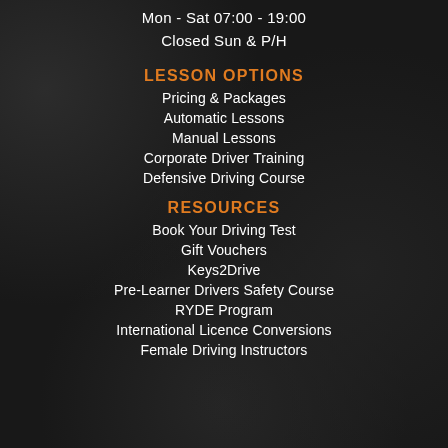Mon - Sat 07:00 - 19:00
Closed Sun & P/H
LESSON OPTIONS
Pricing & Packages
Automatic Lessons
Manual Lessons
Corporate Driver Training
Defensive Driving Course
RESOURCES
Book Your Driving Test
Gift Vouchers
Keys2Drive
Pre-Learner Drivers Safety Course
RYDE Program
International Licence Conversions
Female Driving Instructors